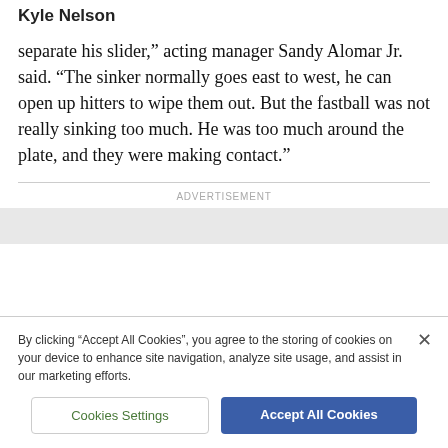Kyle Nelson
separate his slider,” acting manager Sandy Alomar Jr. said. “The sinker normally goes east to west, he can open up hitters to wipe them out. But the fastball was not really sinking too much. He was too much around the plate, and they were making contact.”
ADVERTISEMENT
By clicking “Accept All Cookies”, you agree to the storing of cookies on your device to enhance site navigation, analyze site usage, and assist in our marketing efforts.
Cookies Settings
Accept All Cookies